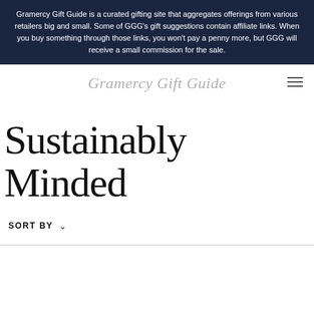Gramercy Gift Guide is a curated gifting site that aggregates offerings from various retailers big and small. Some of GGG's gift suggestions contain affiliate links. When you buy something through those links, you won't pay a penny more, but GGG will receive a small commission for the sale.
Gramercy Gift Guide
Sustainably Minded
SORT BY